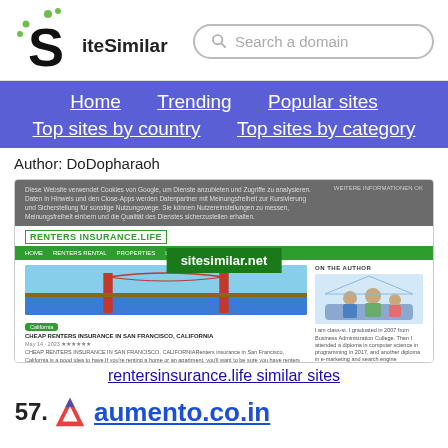SiteSimilar — Search a domain
Home   Trending   Popular sites   Top sites by country   Top sites by category
Author: DoDopharaoh
[Figure (screenshot): Screenshot of rentersinsurance.life website showing a cookie notice, green navigation bar, Golden Gate Bridge photo, and an article titled 'CHEAP RENTERS INSURANCE IN SAN FRANCISCO, CALIFORNIA' along with an About the Author section. A sitesimilar.net watermark overlays the screenshot.]
rentersinsurance.life similar sites
57.  aumento.co.in